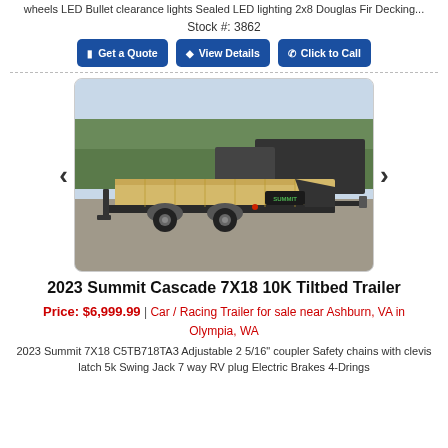wheels LED Bullet clearance lights Sealed LED lighting 2x8 Douglas Fir Decking...
Stock #: 3862
Get a Quote | View Details | Click to Call
[Figure (photo): Photo of a 2023 Summit Cascade 7X18 10K Tiltbed Trailer in a lot, showing a flatbed tilt trailer with wood decking and the Summit logo.]
2023 Summit Cascade 7X18 10K Tiltbed Trailer
Price: $6,999.99 | Car / Racing Trailer for sale near Ashburn, VA in Olympia, WA
2023 Summit 7X18 C5TB718TA3 Adjustable 2 5/16" coupler Safety chains with clevis latch 5k Swing Jack 7 way RV plug Electric Brakes 4-Drings